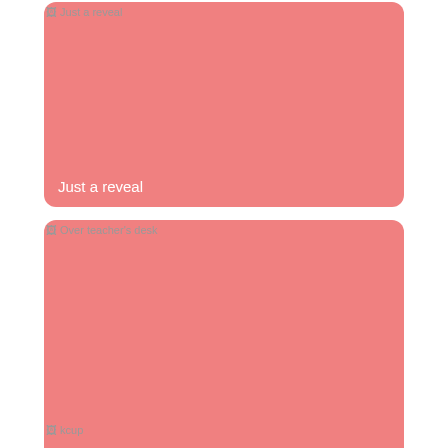[Figure (photo): Pink/salmon colored card with label 'Just a reveal' at bottom left. Broken image icon visible at top left.]
Just a reveal
[Figure (photo): Pink/salmon colored card with label 'Over teacher's desk' at bottom left. Broken image icon with alt text 'Over teacher's desk' visible at top left.]
Over teacher's desk
[Figure (photo): Pink/salmon colored card partially visible at bottom of page. Broken image icon with alt text 'kcup' visible at top left.]